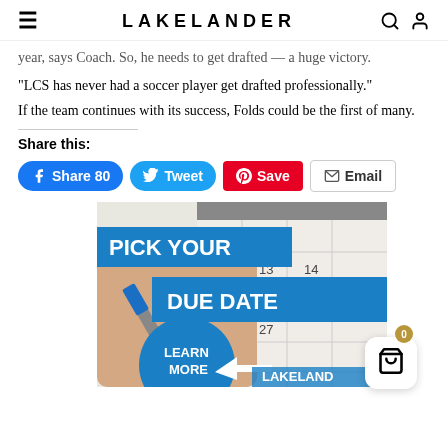LAKELANDER
year, says Coach. So, he needs to get drafted — a huge victory. "LCS has never had a soccer player get drafted professionally."
If the team continues with its success, Folds could be the first of many.
Share this:
Share 80  Tweet  Save  Email
[Figure (photo): Advertisement banner for Lakeland Credit Union with text 'PICK YOUR DUE DATE' and 'LEARN MORE', showing a hand circling a date on a calendar.]